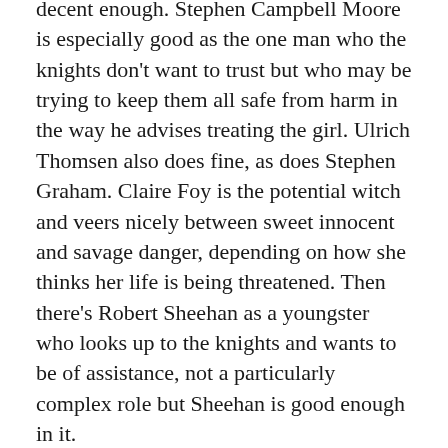decent enough. Stephen Campbell Moore is especially good as the one man who the knights don't want to trust but who may be trying to keep them all safe from harm in the way he advises treating the girl. Ulrich Thomsen also does fine, as does Stephen Graham. Claire Foy is the potential witch and veers nicely between sweet innocent and savage danger, depending on how she thinks her life is being threatened. Then there's Robert Sheehan as a youngster who looks up to the knights and wants to be of assistance, not a particularly complex role but Sheehan is good enough in it.
When you stop to think about most of the events in the movie it becomes clear just how stupid everything is and how big the gaping plot holes are but while the film is running it's passable entertainment with some decent set-pieces here and there. I enjoyed it, I left the